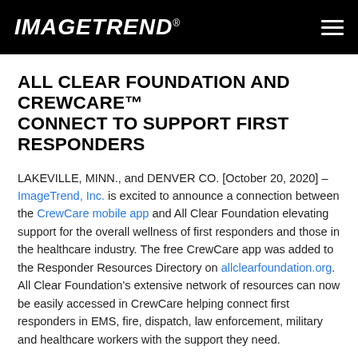ImageTrend®
ALL CLEAR FOUNDATION AND CREWCARE™ CONNECT TO SUPPORT FIRST RESPONDERS
LAKEVILLE, MINN., and DENVER CO. [October 20, 2020] – ImageTrend, Inc. is excited to announce a connection between the CrewCare mobile app and All Clear Foundation elevating support for the overall wellness of first responders and those in the healthcare industry. The free CrewCare app was added to the Responder Resources Directory on allclearfoundation.org. All Clear Foundation's extensive network of resources can now be easily accessed in CrewCare helping connect first responders in EMS, fire, dispatch, law enforcement, military and healthcare workers with the support they need.